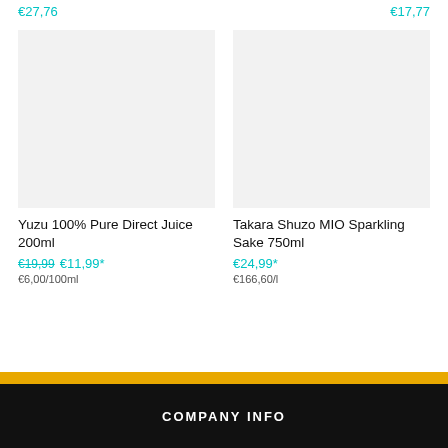€27,76
€17,77
[Figure (photo): Product image placeholder for Yuzu 100% Pure Direct Juice 200ml]
[Figure (photo): Product image placeholder for Takara Shuzo MIO Sparkling Sake 750ml]
Yuzu 100% Pure Direct Juice 200ml
€19,99 €11,99* €6,00/100ml
Takara Shuzo MIO Sparkling Sake 750ml
€24,99* €166,60/l
COMPANY INFO